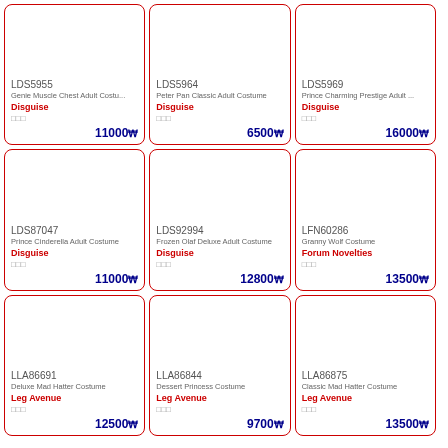LDS5955
Genie Muscle Chest Adult Costu...
Disguise
□□□
11000₩
LDS5964
Peter Pan Classic Adult Costume
Disguise
□□□
6500₩
LDS5969
Prince Charming Prestige Adult ...
Disguise
□□□
16000₩
LDS87047
Prince Cinderella Adult Costume
Disguise
□□□
11000₩
LDS92994
Frozen Olaf Deluxe Adult Costume
Disguise
□□□
12800₩
LFN60286
Granny Wolf Costume
Forum Novelties
□□□
13500₩
LLA86691
Deluxe Mad Hatter Costume
Leg Avenue
□□□
12500₩
LLA86844
Dessert Princess Costume
Leg Avenue
□□□
9700₩
LLA86875
Classic Mad Hatter Costume
Leg Avenue
□□□
13500₩